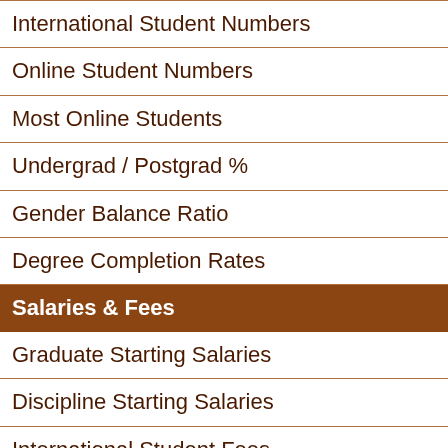International Student Numbers
Online Student Numbers
Most Online Students
Undergrad / Postgrad %
Gender Balance Ratio
Degree Completion Rates
Salaries & Fees
Graduate Starting Salaries
Discipline Starting Salaries
International Student Fees
General Information
VC Salary Packages
Uni Revenue & Surpluses
History of Universities
Discipline Rankings by Size
Agricultural Science Schools
Architecture Schools
Business Schools